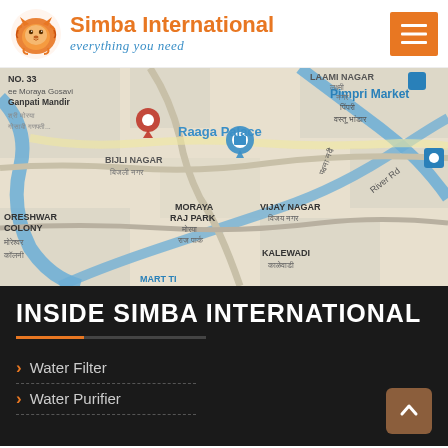[Figure (logo): Simba International logo with orange lion icon, brand name in orange, tagline in blue italic]
[Figure (map): Google Maps showing Pimpri area with landmarks: Raaga Palace, Bijli Nagar, Moraya Raj Park, Vijay Nagar, Kalewadi, Moreshwar Colony, Pimpri Market, Laxmi Nagar, River Rd]
INSIDE SIMBA INTERNATIONAL
Water Filter
Water Purifier